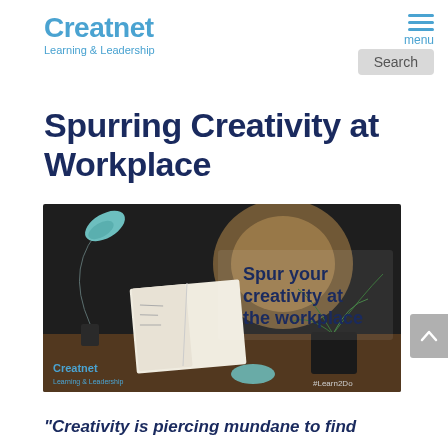Creatnet Learning & Leadership
Spurring Creativity at Workplace
[Figure (photo): A desk scene with a teal arc lamp, an open book/sketchbook, a plant in a dark pot, and a circular wall art in the background. Overlaid text reads 'Spur your creativity at the workplace'. Bottom left shows Creatnet Learning & Leadership logo and bottom right shows #Learn2Do.]
“Creativity is piercing mundane to find